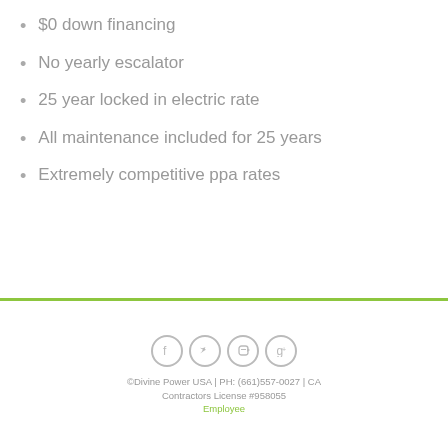$0 down financing
No yearly escalator
25 year locked in electric rate
All maintenance included for 25 years
Extremely competitive ppa rates
©Divine Power USA | PH: (661)557-0027 | CA Contractors License #958055
Employee